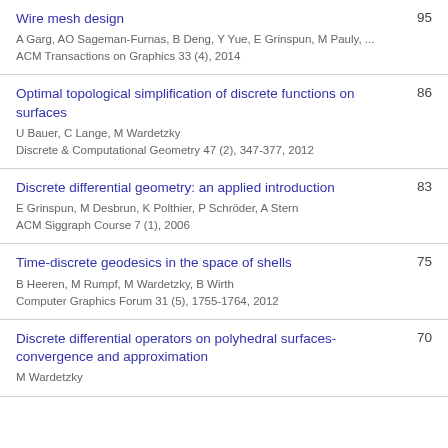Wire mesh design
A Garg, AO Sageman-Furnas, B Deng, Y Yue, E Grinspun, M Pauly, ...
ACM Transactions on Graphics 33 (4), 2014
95
Optimal topological simplification of discrete functions on surfaces
U Bauer, C Lange, M Wardetzky
Discrete & Computational Geometry 47 (2), 347-377, 2012
86
Discrete differential geometry: an applied introduction
E Grinspun, M Desbrun, K Polthier, P Schröder, A Stern
ACM Siggraph Course 7 (1), 2006
83
Time-discrete geodesics in the space of shells
B Heeren, M Rumpf, M Wardetzky, B Wirth
Computer Graphics Forum 31 (5), 1755-1764, 2012
75
Discrete differential operators on polyhedral surfaces-convergence and approximation
M Wardetzky
70